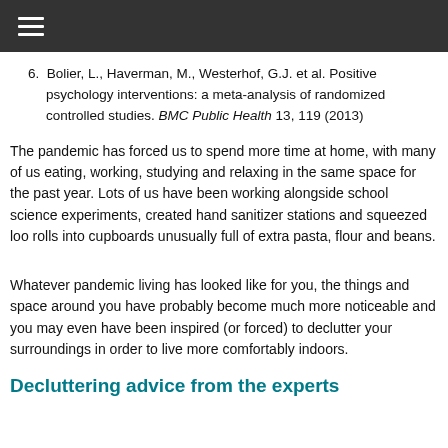≡
6. Bolier, L., Haverman, M., Westerhof, G.J. et al. Positive psychology interventions: a meta-analysis of randomized controlled studies. BMC Public Health 13, 119 (2013)
The pandemic has forced us to spend more time at home, with many of us eating, working, studying and relaxing in the same space for the past year. Lots of us have been working alongside school science experiments, created hand sanitizer stations and squeezed loo rolls into cupboards unusually full of extra pasta, flour and beans.
Whatever pandemic living has looked like for you, the things and space around you have probably become much more noticeable and you may even have been inspired (or forced) to declutter your surroundings in order to live more comfortably indoors.
Decluttering advice from the experts